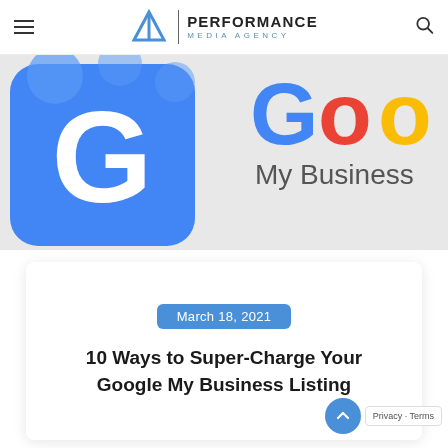Performance Media Agency
[Figure (photo): Google My Business logo and Google logo side by side — blue square with white G letter icon on left, Google colored logo letters with 'My Business' text on right]
March 18, 2021
10 Ways to Super-Charge Your Google My Business Listing